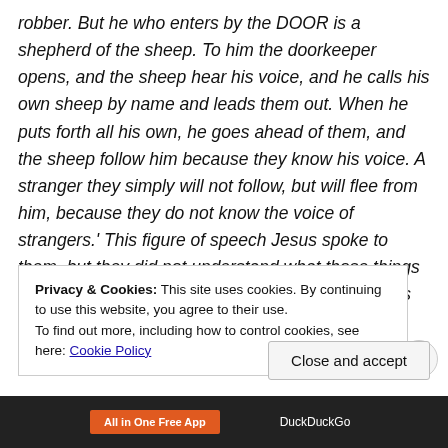robber. But he who enters by the DOOR is a shepherd of the sheep. To him the doorkeeper opens, and the sheep hear his voice, and he calls his own sheep by name and leads them out. When he puts forth all his own, he goes ahead of them, and the sheep follow him because they know his voice. A stranger they simply will not follow, but will flee from him, because they do not know the voice of strangers.' This figure of speech Jesus spoke to them, but they did not understand what those things were which He had been saying to them. So Jesus said to them again, 'Truly, Truly, I say to you, I AM THE DOOR OF THE
Privacy & Cookies: This site uses cookies. By continuing to use this website, you agree to their use.
To find out more, including how to control cookies, see here: Cookie Policy
Close and accept